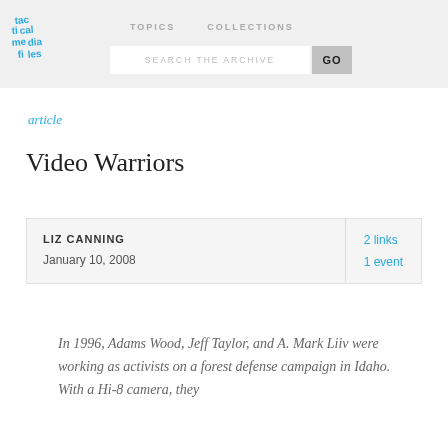tactical media files | TOPICS   COLLECTIONS | SEARCH THE ARCHIVE  GO
article
Video Warriors
LIZ CANNING
January 10, 2008
2 links
1 event
In 1996, Adams Wood, Jeff Taylor, and A. Mark Liiv were working as activists on a forest defense campaign in Idaho. With a Hi-8 camera, they